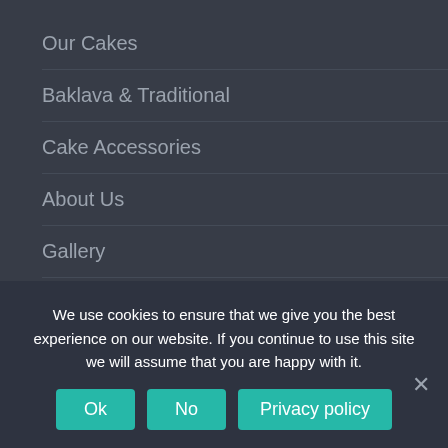Our Cakes
Baklava & Traditional
Cake Accessories
About Us
Gallery
Blog
FAQ
Privacy Policy
Terms & Conditions
We use cookies to ensure that we give you the best experience on our website. If you continue to use this site we will assume that you are happy with it.
Ok | No | Privacy policy